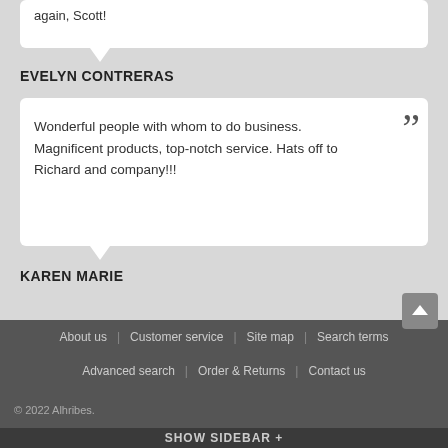again, Scott!
EVELYN CONTRERAS
Wonderful people with whom to do business. Magnificent products, top-notch service. Hats off to Richard and company!!!
KAREN MARIE
About us | Customer service | Site map | Search terms | Advanced search | Order & Returns | Contact us
© 2022 Alhribes.
SHOW SIDEBAR +